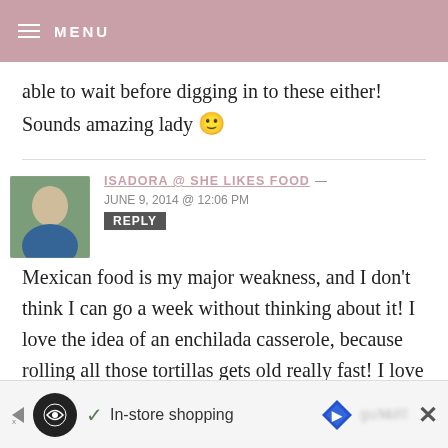MENU
able to wait before digging in to these either! Sounds amazing lady 🙂
ISADORA @ SHE LIKES FOOD — JUNE 9, 2014 @ 12:06 PM REPLY
Mexican food is my major weakness, and I don't think I can go a week without thinking about it! I love the idea of an enchilada casserole, because rolling all those tortillas gets old really fast! I love all the vegetables you packed into these, does that mean that I
[Figure (screenshot): Advertisement bar at bottom: In-store shopping with navigation icons]